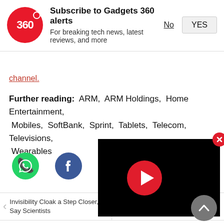[Figure (logo): Gadgets 360 notification banner with red circular logo showing '360', bold title 'Subscribe to Gadgets 360 alerts', subtitle 'For breaking tech news, latest reviews, and more', and No/YES buttons]
channel.
Further reading: ARM, ARM Holdings, Home Entertainment, Mobiles, SoftBank, Sprint, Tablets, Telecom, Televisions, Wearables
[Figure (infographic): Social media sharing icons row: WhatsApp (green), Facebook (dark blue), Twitter (light blue), Snapchat (yellow), and partially visible gray icon]
Invisibility Cloak a Step Closer, Say Scientists
Netflix t
[Figure (screenshot): Black video player overlay with red play button and red X close button]
Featured